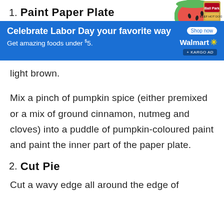1. Paint Paper Plate
[Figure (screenshot): Walmart advertisement banner: 'Celebrate Labor Day your favorite way. Get amazing foods under $5. Shop now. Walmart + KARGO AD' with watermelon and food product images.]
light brown.
Mix a pinch of pumpkin spice (either premixed or a mix of ground cinnamon, nutmeg and cloves) into a puddle of pumpkin-coloured paint and paint the inner part of the paper plate.
2. Cut Pie
Cut a wavy edge all around the edge of